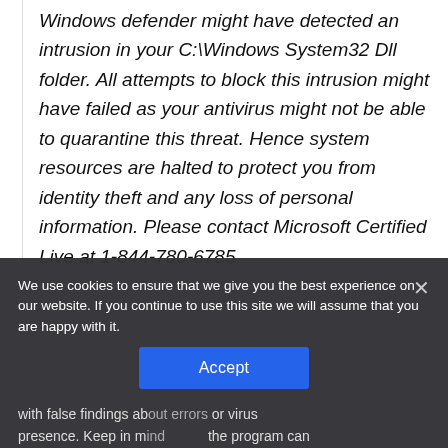Windows defender might have detected an intrusion in your C:\Windows System32 Dll folder. All attempts to block this intrusion might have failed as your antivirus might not be able to quarantine this threat. Hence system resources are halted to protect you from identity theft and any loss of personal information. Please contact Microsoft Certified Live at 1-844-780-6785.
We use cookies to ensure that we give you the best experience on our website. If you continue to use this site we will assume that you are happy with it.
with false findings about errors or virus presence. Keep in mind the program can force you to use their online support assistance. The